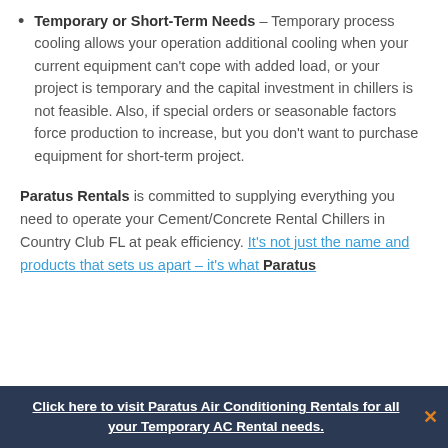Temporary or Short-Term Needs – Temporary process cooling allows your operation additional cooling when your current equipment can't cope with added load, or your project is temporary and the capital investment in chillers is not feasible. Also, if special orders or seasonable factors force production to increase, but you don't want to purchase equipment for short-term project.
Paratus Rentals is committed to supplying everything you need to operate your Cement/Concrete Rental Chillers in Country Club FL at peak efficiency. It's not just the name and products that sets us apart – it's what Paratus
Click here to visit Paratus Air Conditioning Rentals for all your Temporary AC Rental needs.